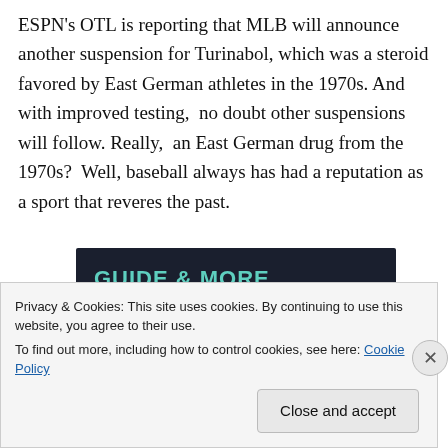ESPN's OTL is reporting that MLB will announce another suspension for Turinabol, which was a steroid favored by East German athletes in the 1970s. And with improved testing,  no doubt other suspensions will follow. Really,  an East German drug from the 1970s?  Well, baseball always has had a reputation as a sport that reveres the past.
[Figure (screenshot): Dark-background advertisement banner with teal/green text at top and a 'Learn More' button in teal/green rounded rectangle]
Privacy & Cookies: This site uses cookies. By continuing to use this website, you agree to their use.
To find out more, including how to control cookies, see here: Cookie Policy
Close and accept